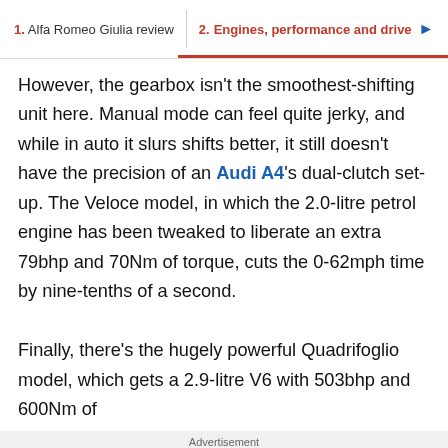1. Alfa Romeo Giulia review  2. Engines, performance and drive
However, the gearbox isn't the smoothest-shifting unit here. Manual mode can feel quite jerky, and while in auto it slurs shifts better, it still doesn't have the precision of an Audi A4's dual-clutch set-up. The Veloce model, in which the 2.0-litre petrol engine has been tweaked to liberate an extra 79bhp and 70Nm of torque, cuts the 0-62mph time by nine-tenths of a second.

Finally, there's the hugely powerful Quadrifoglio model, which gets a 2.9-litre V6 with 503bhp and 600Nm of
Advertisement
[Figure (infographic): Advertisement banner showing In-store shopping, Curbside pickup, and Delivery options with checkmarks, a play button icon, a logo, and a blue diamond arrow icon.]